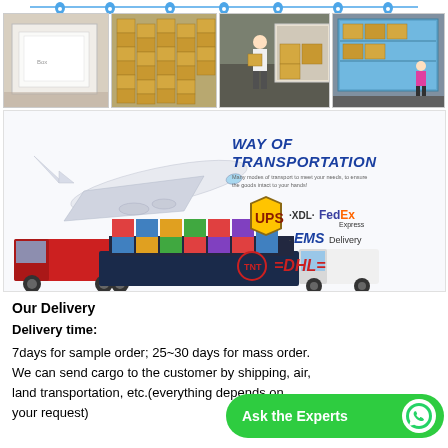[Figure (photo): Row of four warehouse/shipping photos showing cardboard boxes, stacked packages in warehouse, worker loading truck, and container with person standing.]
[Figure (infographic): Way of Transportation banner showing airplane, cargo ship, truck and van on left side; text 'WAY OF TRANSPORTATION' with subtitle and courier logos (UPS, XDL, FedEx Express, EMS Delivery, TNT, DHL) on right side.]
Our Delivery
Delivery time:
7days for sample order; 25~30 days for mass order. We can send cargo to the customer by shipping, air, land transportation, etc.(everything depends on your request)